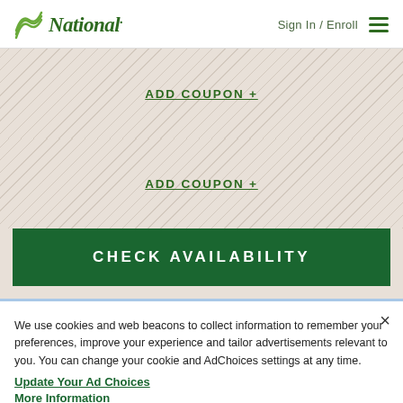National — Sign In / Enroll
ADD COUPON +
ADD COUPON +
CHECK AVAILABILITY
We use cookies and web beacons to collect information to remember your preferences, improve your experience and tailor advertisements relevant to you. You can change your cookie and AdChoices settings at any time.
Update Your Ad Choices
More Information